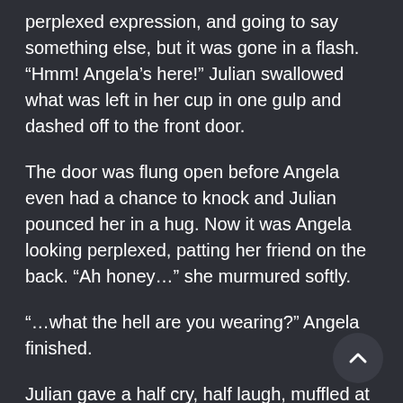perplexed expression, and going to say something else, but it was gone in a flash. “Hmm! Angela’s here!” Julian swallowed what was left in her cup in one gulp and dashed off to the front door.
The door was flung open before Angela even had a chance to knock and Julian pounced her in a hug. Now it was Angela looking perplexed, patting her friend on the back. “Ah honey…” she murmured softly.
“…what the hell are you wearing?” Angela finished.
Julian gave a half cry, half laugh, muffled at Angela’s shoulder. “It’s pretty!” she complained